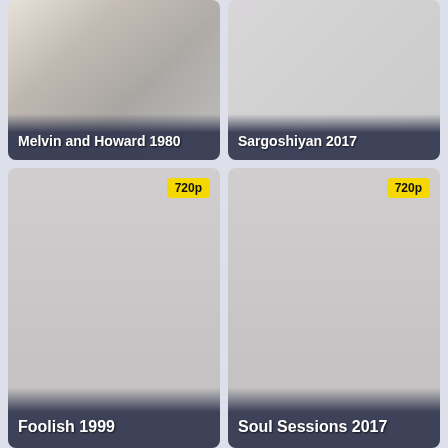[Figure (screenshot): Movie thumbnail card for 'Melvin and Howard 1980' - partial image visible, gray tones with title bar at bottom]
[Figure (screenshot): Movie thumbnail card for 'Sargoshiyan 2017' - gray placeholder with title bar at bottom]
[Figure (screenshot): Movie thumbnail card for 'Foolish 1999' - gray placeholder with 720p badge top right]
[Figure (screenshot): Movie thumbnail card for 'Soul Sessions 2017' - gray placeholder with 720p badge top right]
[Figure (screenshot): Movie thumbnail card - gray placeholder with 1080p badge top right, title not fully visible]
[Figure (screenshot): Movie thumbnail card - gray placeholder with 720p badge top right, title not visible]